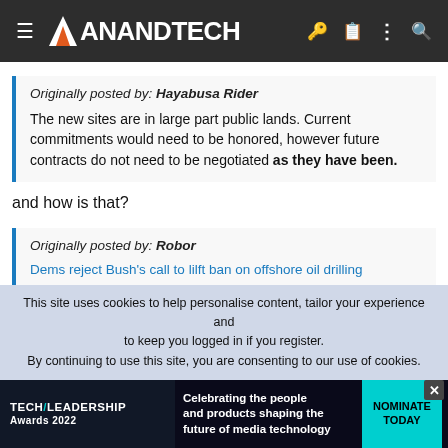AnandTech
Originally posted by: Hayabusa Rider
The new sites are in large part public lands. Current commitments would need to be honored, however future contracts do not need to be negotiated as they have been.
and how is that?
Originally posted by: Robor
Dems reject Bush's call to lilft ban on offshore oil drilling
This site uses cookies to help personalise content, tailor your experience and to keep you logged in if you register.
By continuing to use this site, you are consenting to our use of cookies.
[Figure (screenshot): Tech Leadership Awards 2022 advertisement banner: 'Celebrating the people and products shaping the future of media technology' with NOMINATE TODAY button]